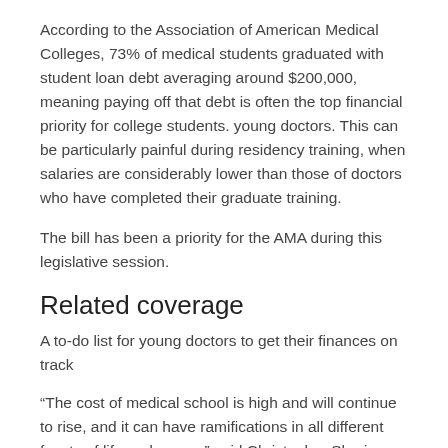According to the Association of American Medical Colleges, 73% of medical students graduated with student loan debt averaging around $200,000, meaning paying off that debt is often the top financial priority for college students. young doctors. This can be particularly painful during residency training, when salaries are considerably lower than those of doctors who have completed their graduate training.
The bill has been a priority for the AMA during this legislative session.
Related coverage
A to-do list for young doctors to get their finances on track
“The cost of medical school is high and will continue to rise, and it can have ramifications in all different facets of life and career,” said Christopher Sherin, deputy director of congressional affairs at the WADA. “This is just one of those opportunities that we thought would benefit our members, especially on the younger side of the membership.”